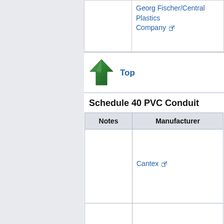| Notes | Manufacturer |
| --- | --- |
|  | Georg Fischer/Central Plastics Company ⧉ |
[Figure (illustration): Green upward arrow icon for 'Top' navigation link]
Top
Schedule 40 PVC Conduit
| Notes | Manufacturer |
| --- | --- |
|  | Cantex ⧉ |
|  |  |